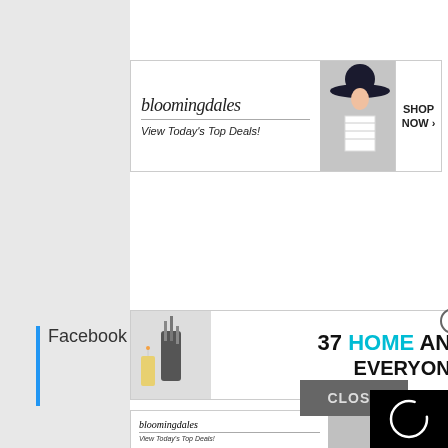[Figure (screenshot): Bloomingdales banner ad at top: logo with italic text 'bloomingdales', tagline 'View Today's Top Deals!', woman in striped top and wide-brim hat, SHOP NOW button]
[Figure (screenshot): Home and Kitchen items ad: '37 HOME AND KITCHEN ITEMS EVERYONE SHOULD OWN' with teal badge and kitchen items image]
[Figure (screenshot): Black video player with white circular loading/spinner icon]
Facebook
[Figure (screenshot): CLOSE button in gray]
[Figure (screenshot): Bloomingdales banner ad at bottom: same as top ad]